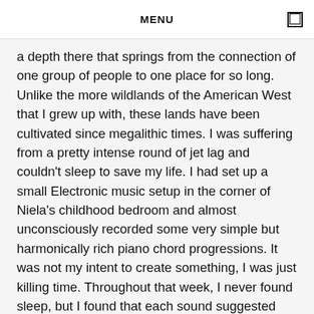MENU
a depth there that springs from the connection of one group of people to one place for so long. Unlike the more wildlands of the American West that I grew up with, these lands have been cultivated since megalithic times. I was suffering from a pretty intense round of jet lag and couldn't sleep to save my life. I had set up a small Electronic music setup in the corner of Niela's childhood bedroom and almost unconsciously recorded some very simple but harmonically rich piano chord progressions. It was not my intent to create something, I was just killing time. Throughout that week, I never found sleep, but I found that each sound suggested the next, and soon there were layers of moody piano, with mellotron strings and French horn. I didn't think much of it, but upon returning home, I kept revisiting the tracks in my home studio where I began processing them through my analog gear, overdubbing synths, and just generally going down a sonic rabbit hole. It began to take a form and within a couple of months, I had the album